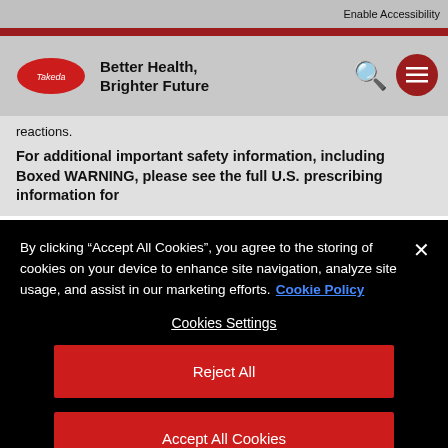Enable Accessibility
[Figure (logo): Takeda logo with red oval and wordmark, tagline: Better Health, Brighter Future]
reactions.
For additional important safety information, including Boxed WARNING, please see the full U.S. prescribing information for
By clicking “Accept All Cookies”, you agree to the storing of cookies on your device to enhance site navigation, analyze site usage, and assist in our marketing efforts. Cookie Policy
Cookies Settings
Reject All
Accept All Cookies